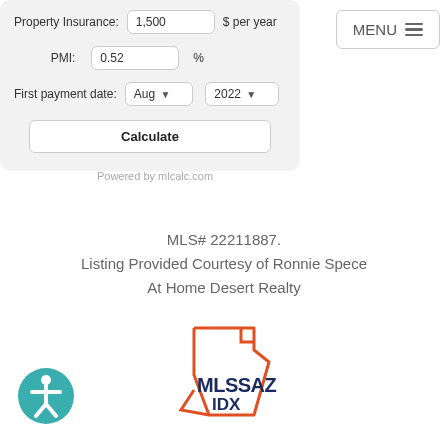Property Insurance: 1,500 $ per year
PMI: 0.52 %
First payment date: Aug 2022
Calculate
MENU
Powered by mlcalc.com
MLS# 22211887.
Listing Provided Courtesy of Ronnie Spece
At Home Desert Realty
[Figure (logo): MLSSAZ IDX logo with Arizona state outline in red/orange]
[Figure (logo): Accessibility icon - person in circle, teal color]